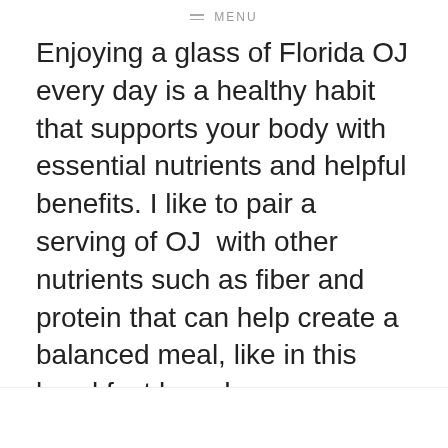MENU
Enjoying a glass of Florida OJ every day is a healthy habit that supports your body with essential nutrients and helpful benefits. I like to pair a serving of OJ  with other nutrients such as fiber and protein that can help create a balanced meal, like in this breakfast board.